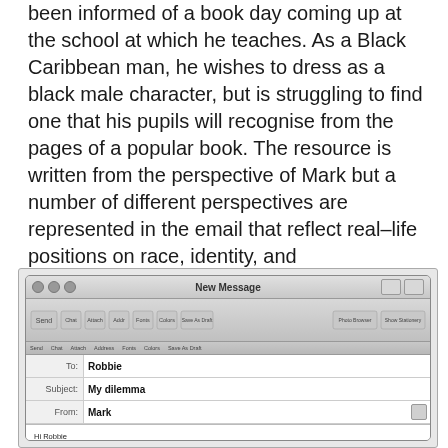been informed of a book day coming up at the school at which he teaches. As a Black Caribbean man, he wishes to dress as a black male character, but is struggling to find one that his pupils will recognise from the pages of a popular book. The resource is written from the perspective of Mark but a number of different perspectives are represented in the email that reflect real-life positions on race, identity, and representation.
[Figure (screenshot): Screenshot of an email composition window (Mac OS X Mail style) addressed To: Robbie, Subject: My dilemma, From: Mark. The body begins: 'Hi Robbie, How were your holidays and how are things back home in Trinidad? I'm glad you're back because I could do with some advice. You never know when a dilemma is going to creep up on you and I've got one now. The thing is that the school I'm teaching at has announced a book day. All the staff and pupils are asked to dress up as a character from children's fiction. I wanted to choose a Black character. I am a Black Caribbean man after all. The thing is, I couldn't think of any that the children would recognise ... nobody as well known as Max from 'Where...']